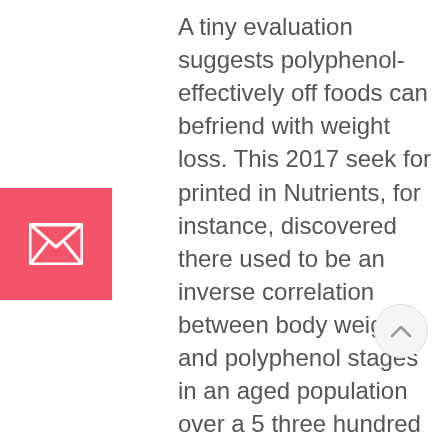[Figure (infographic): Pink/red square button with a white envelope/mail icon in the center, positioned on the left side of the page]
A tiny evaluation suggests polyphenol-effectively off foods can befriend with weight loss. This 2017 seek for printed in Nutrients, for instance, discovered there used to be an inverse correlation between body weight and polyphenol stages in an aged population over a 5 three hundred and sixty five days interval. In other phrases, older adults with a diet effectively off in polyphenols were seemingly to weigh much less than adults with a diet missing in polyphenols.
Yet one more seek for printed in Nutrients in 2010 discovered a the same affiliation, showing that dietary polyphenols had priceless results on adiposity and weight problems. Researchers reviewed accessible proof on dietary polyphenols and weight
[Figure (other): Light gray circular scroll-to-top button with an upward chevron arrow, positioned in the lower right area of the page]